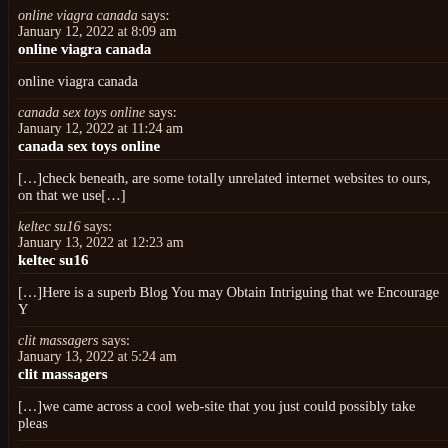January 12, 2022 at 8:09 am
online viagra canada
online viagra canada
canada sex toys online says:
January 12, 2022 at 11:24 am
canada sex toys online
[…]check beneath, are some totally unrelated internet websites to ours, on that we use[…]
keltec su16 says:
January 13, 2022 at 12:23 am
keltec su16
[…]Here is a superb Blog You may Obtain Intriguing that we Encourage Y
clit massagers says:
January 13, 2022 at 5:24 am
clit massagers
[…]we came across a cool web-site that you just could possibly take pleas
condonlotto.com says:
January 14, 2022 at 10:40 am
Title